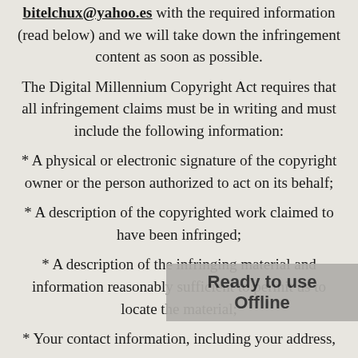bitelchux@yahoo.es with the required information (read below) and we will take down the infringement content as soon as possible.
The Digital Millennium Copyright Act requires that all infringement claims must be in writing and must include the following information:
* A physical or electronic signature of the copyright owner or the person authorized to act on its behalf;
* A description of the copyrighted work claimed to have been infringed;
* A description of the infringing material and information reasonably sufficient to permit us to locate the material;
* Your contact information, including your address,